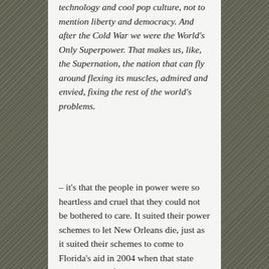technology and cool pop culture, not to mention liberty and democracy. And after the Cold War we were the World's Only Superpower. That makes us, like, the Supernation, the nation that can fly around flexing its muscles, admired and envied, fixing the rest of the world's problems.
– it's that the people in power were so heartless and cruel that they could not be bothered to care. It suited their power schemes to let New Orleans die, just as it suited their schemes to come to Florida's aid in 2004 when that state was struck by four hurricanes (Bush's numbers perked up as a result, and he won Florida in the election).